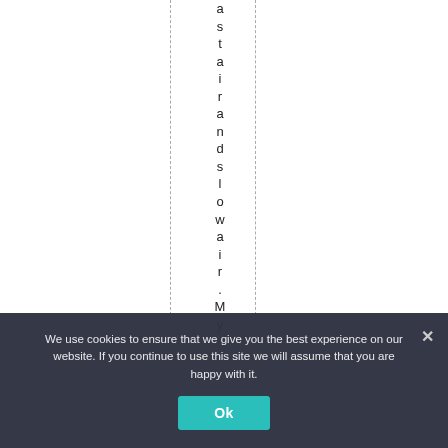a s t a i r a n d s l o w a i r . M y
We use cookies to ensure that we give you the best experience on our website. If you continue to use this site we will assume that you are happy with it.